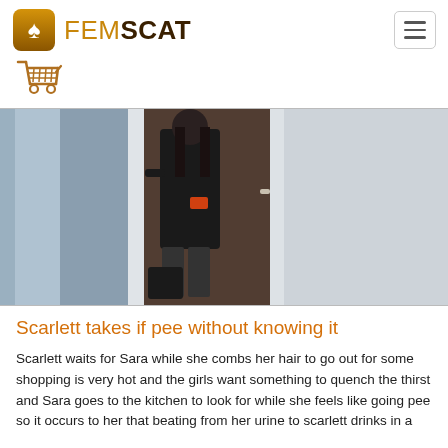FEMSCAT
[Figure (photo): A woman standing near a doorway or closet in a room, viewed from behind, wearing dark shorts and top.]
Scarlett takes if pee without knowing it
Scarlett waits for Sara while she combs her hair to go out for some shopping is very hot and the girls want something to quench the thirst and Sara goes to the kitchen to look for while she feels like going pee so it occurs to her that beating from her urine to scarlett drinks in a